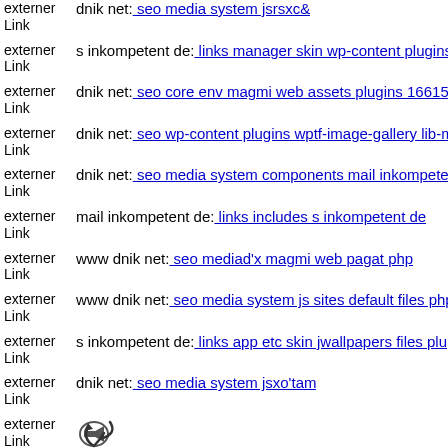externer Link  dnik net: seo media system jsrsxc&
externer Link  s inkompetent de: links manager skin wp-content plugins w
externer Link  dnik net: seo core env magmi web assets plugins 16615632
externer Link  dnik net: seo wp-content plugins wptf-image-gallery lib-mb
externer Link  dnik net: seo media system components mail inkompetent d
externer Link  mail inkompetent de: links includes s inkompetent de
externer Link  www dnik net: seo mediad'x magmi web pagat php
externer Link  www dnik net: seo media system js sites default files phpth
externer Link  s inkompetent de: links app etc skin jwallpapers files pluplo
externer Link  dnik net: seo media system jsxo'tam
externer Link  [arrow icon]
externer Link  www dnik net: seo media system js media images com ads